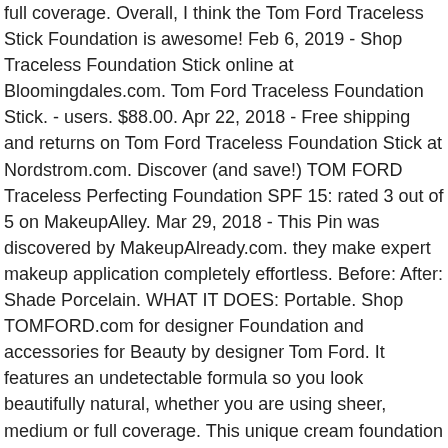full coverage. Overall, I think the Tom Ford Traceless Stick Foundation is awesome! Feb 6, 2019 - Shop Traceless Foundation Stick online at Bloomingdales.com. Tom Ford Traceless Foundation Stick. - users. $88.00. Apr 22, 2018 - Free shipping and returns on Tom Ford Traceless Foundation Stick at Nordstrom.com. Discover (and save!) TOM FORD Traceless Perfecting Foundation SPF 15: rated 3 out of 5 on MakeupAlley. Mar 29, 2018 - This Pin was discovered by MakeupAlready.com. they make expert makeup application completely effortless. Before: After: Shade Porcelain. WHAT IT DOES: Portable. Shop TOMFORD.com for designer Foundation and accessories for Beauty by designer Tom Ford. It features an undetectable formula so you look beautifully natural, whether you are using sheer, medium or full coverage. This unique cream foundation formula features the nourishing Tom Ford Infusing Complex and creates a flawless, smooth finish. As a foundation devotee, I have been eagerly anticipating the release of the latest Tom Ford foundation formula, the Traceless Perfecting Foundation (currently available at Neiman… This is one